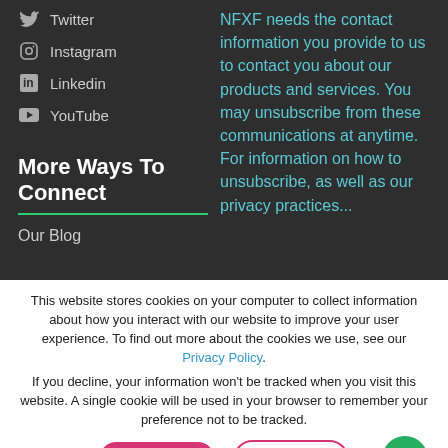Twitter
Instagram
Linkedin
YouTube
More Ways To Connect
Our Blog
NFXF needs the contact information you provide to us to contact you about our products and services. You may unsubscribe from these communications at anytime. For information on how to unsubscribe, as well as our privacy practices...
This website stores cookies on your computer to collect information about how you interact with our website to improve your user experience. To find out more about the cookies we use, see our Privacy Policy.
If you decline, your information won’t be tracked when you visit this website. A single cookie will be used in your browser to remember your preference not to be tracked.
ACCEPT
DECLINE